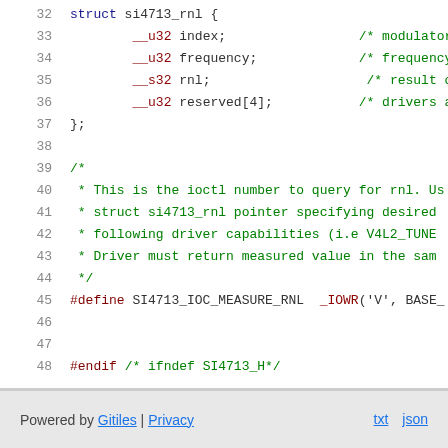32  struct si4713_rnl {
33      __u32 index;   /* modulator in
34      __u32 frequency;  /* frequency to
35      __s32 rnl;   /* result of me
36      __u32 reserved[4];  /* drivers and
37  };
38
39  /*
40   * This is the ioctl number to query for rnl. Us
41   * struct si4713_rnl pointer specifying desired
42   * following driver capabilities (i.e V4L2_TUNE
43   * Driver must return measured value in the sam
44   */
45  #define SI4713_IOC_MEASURE_RNL  _IOWR('V', BASE_
46
47
48  #endif /* ifndef SI4713_H*/
Powered by Gitiles | Privacy   txt  json